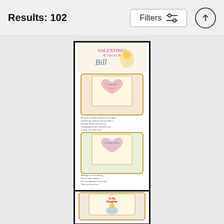Results: 102
[Figure (illustration): A scanned illustration showing 'Valentines From Bill' with cartoon valentine cards featuring hearts and handwritten-style text, stacked vertically with three panels]
Valentines From BillTo Monica